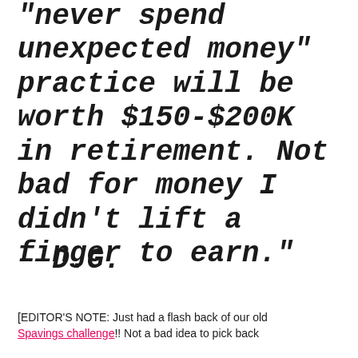“never spend unexpected money” practice will be worth $150-$200K in retirement. Not bad for money I didn’t lift a finger to earn.”
– D.G.
[EDITOR’S NOTE: Just had a flash back of our old Spavings challenge!! Not a bad idea to pick back